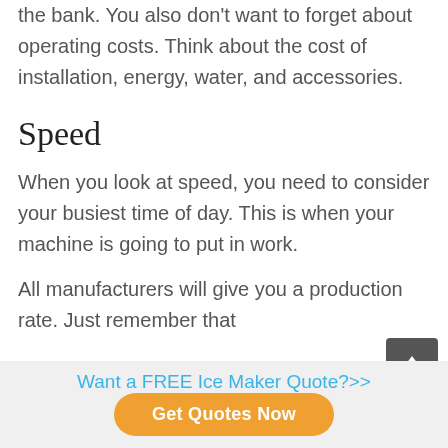the bank. You also don't want to forget about operating costs. Think about the cost of installation, energy, water, and accessories.
Speed
When you look at speed, you need to consider your busiest time of day. This is when your machine is going to put in work.
All manufacturers will give you a production rate. Just remember that
Want a FREE Ice Maker Quote?>>
Get Quotes Now